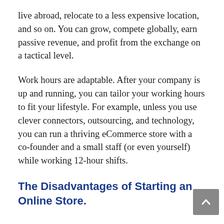live abroad, relocate to a less expensive location, and so on. You can grow, compete globally, earn passive revenue, and profit from the exchange on a tactical level.
Work hours are adaptable. After your company is up and running, you can tailor your working hours to fit your lifestyle. For example, unless you use clever connectors, outsourcing, and technology, you can run a thriving eCommerce store with a co-founder and a small staff (or even yourself) while working 12-hour shifts.
The Disadvantages of Starting an Online Store.